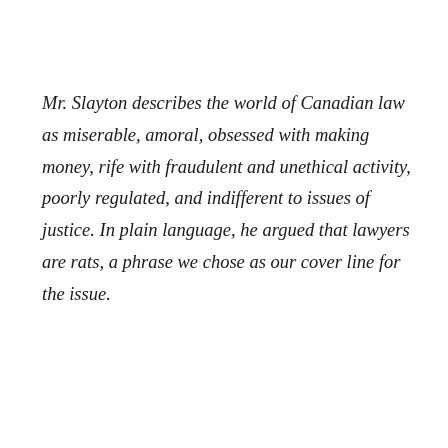Mr. Slayton describes the world of Canadian law as miserable, amoral, obsessed with making money, rife with fraudulent and unethical activity, poorly regulated, and indifferent to issues of justice. In plain language, he argued that lawyers are rats, a phrase we chose as our cover line for the issue.